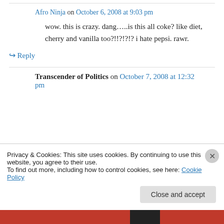Afro Ninja on October 6, 2008 at 9:03 pm
wow. this is crazy. dang…..is this all coke? like diet, cherry and vanilla too?!!?!?!? i hate pepsi. rawr.
↳ Reply
Transcender of Politics on October 7, 2008 at 12:32 pm
Privacy & Cookies: This site uses cookies. By continuing to use this website, you agree to their use.
To find out more, including how to control cookies, see here: Cookie Policy
Close and accept